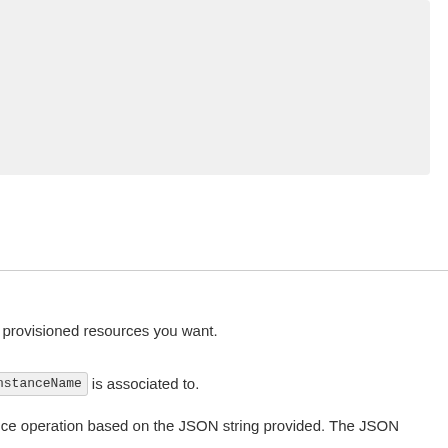[Figure (screenshot): Gray code box / screenshot area at the top of the page]
e provisioned resources you want.
nstanceName is associated to.
vice operation based on the JSON string provided. The JSON